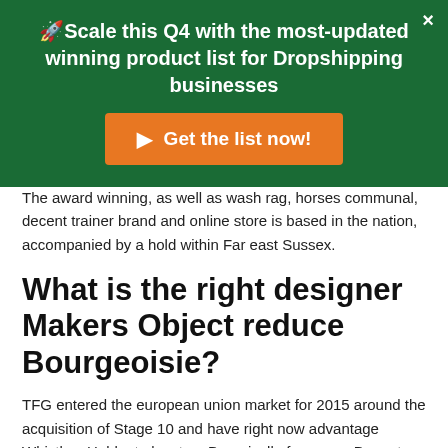🚀Scale this Q4 with the most-updated winning product list for Dropshipping businesses
Get the list now!
The award winning, as well as wash rag, horses communal, decent trainer brand and online store is based in the nation, accompanied by a hold within Far east Sussex.
What is the right designer Makers Object reduce Bourgeoisie?
TFG entered the european union market for 2015 around the acquisition of Stage 10 and have right now advantage Whistles, Hobbs to locate a Damoiselle from your Dress to